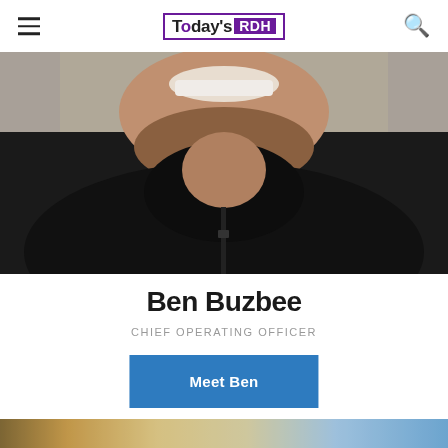Today's RDH
[Figure (photo): Head and shoulders photo of Ben Buzbee smiling, wearing a dark/black jacket, with a beard, cropped to show lower half of face and upper torso against a light background]
Ben Buzbee
CHIEF OPERATING OFFICER
Meet Ben
[Figure (photo): Partial bottom strip of another photo, showing blurry warm and blue tones]